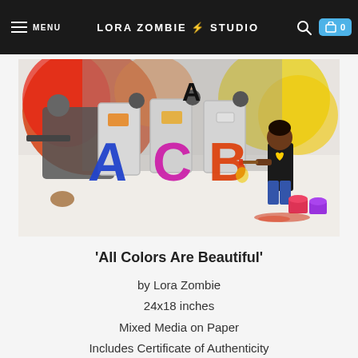MENU | LORA ZOMBIE STUDIO | 0
[Figure (illustration): Mixed media painting titled 'All Colors Are Beautiful' by Lora Zombie. Shows riot police with shields in black and white, colorful paint splashes in red, orange, and yellow. The letters A, C, B are painted on the shields in blue, magenta, and orange. A small Black child stands on the right painting the letter B, surrounded by paint cans. Background has vibrant yellow and red watercolor washes.]
'All Colors Are Beautiful'
by Lora Zombie
24x18 inches
Mixed Media on Paper
Includes Certificate of Authenticity